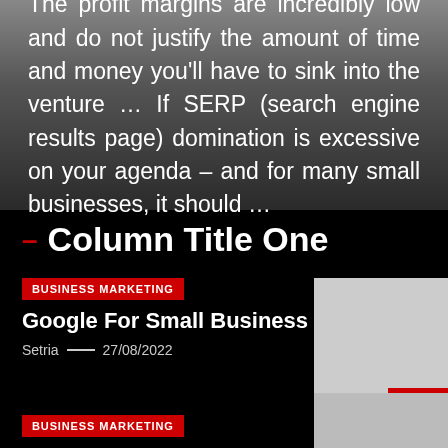[Figure (screenshot): Gray gradient background with white justified text excerpt about profit margins and SERP domination]
The profit margins are incredibly low and do not justify the amount of time and money you'll have to sink into the venture … If SERP (search engine results page) domination is excessive on your agenda – and for many small businesses, it should …
– Column Title One
BUSINESS MARKETING
Google For Small Business
Setria — 27/08/2022
[Figure (photo): Light gray placeholder image with red square and upward chevron arrow]
BUSINESS MARKETING
[Figure (photo): Light gray placeholder image at bottom right]